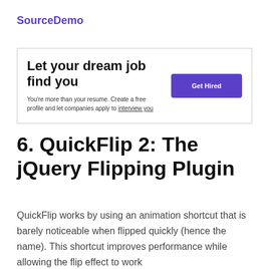SourceDemo
[Figure (infographic): Advertisement box with headline 'Let your dream job find you', body text 'You're more than your resume. Create a free profile and let companies apply to interview you', and a purple 'Get Hired' button.]
6. QuickFlip 2: The jQuery Flipping Plugin
QuickFlip works by using an animation shortcut that is barely noticeable when flipped quickly (hence the name). This shortcut improves performance while allowing the flip effect to work